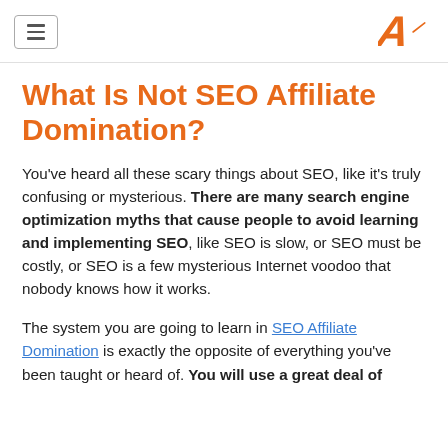[hamburger menu button] [A logo]
What Is Not SEO Affiliate Domination?
You've heard all these scary things about SEO, like it's truly confusing or mysterious. There are many search engine optimization myths that cause people to avoid learning and implementing SEO, like SEO is slow, or SEO must be costly, or SEO is a few mysterious Internet voodoo that nobody knows how it works.
The system you are going to learn in SEO Affiliate Domination is exactly the opposite of everything you've been taught or heard of. You will use a great deal of